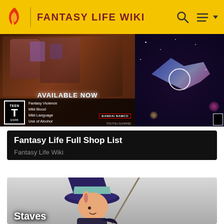FANTASY LIFE WIKI
[Figure (screenshot): Advertisement banner showing 'AVAILABLE NOW' game ad with ESRB Teen rating, Fantasy Violence, Mild Blood, Mild Language, Use of Alcohol descriptors; Bandai Namco logo; right side shows dark space scene with glowing character]
Fantasy Life Full Shop List
Fantasy Life Wiki
[Figure (illustration): A cartoon wizard character wearing a large dark purple pointed hat with a teal/mint band, holding a staff with a green orb, wearing a dark robe. Only upper portion visible. Text 'Staves' at bottom left.]
Staves